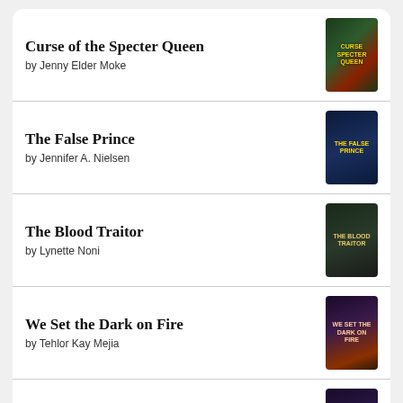Curse of the Specter Queen by Jenny Elder Moke
The False Prince by Jennifer A. Nielsen
The Blood Traitor by Lynette Noni
We Set the Dark on Fire by Tehlor Kay Mejia
Defy the Night by Brigid Kemmerer